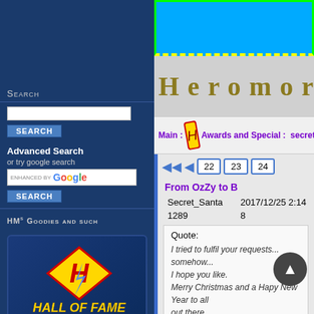Search
Advanced Search
or try google search
HM's Goodies and such
[Figure (logo): Heromorph Hall of Fame logo - stylized HM letters in red/blue/gold with lightning bolt, text reads HALL OF FAME and Heromorph's Past & Present Legends]
[Figure (screenshot): Top area showing blue rectangle with green/yellow dashed border, partial logo area]
Heromorph
Main : Awards and Special : secret sa
22  23  24
From OzZy to B
| Secret_Santa | 2017/12/25 2:14 |
| --- | --- |
| 1289 | 8 |
Quote:
I tried to fulfil your requests... somehow...
I hope you like.
Merry Christmas and a Hapy New Year to all out there.